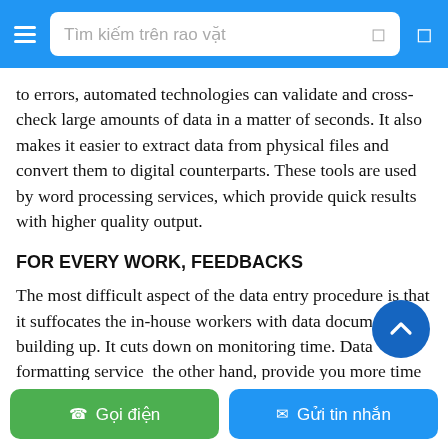[Figure (screenshot): Mobile app navigation bar with hamburger menu icon, search field labeled 'Tìm kiếm trên rao vặt', and right icon, all on blue background]
to errors, automated technologies can validate and cross-check large amounts of data in a matter of seconds. It also makes it easier to extract data from physical files and convert them to digital counterparts. These tools are used by word processing services, which provide quick results with higher quality output.
FOR EVERY WORK, FEEDBACKS
The most difficult aspect of the data entry procedure is that it suffocates the in-house workers with data documents building up. It cuts down on monitoring time. Data formatting services on the other hand, provide you more time to monitor it and receive feedback at regular intervals. In fact, they may quickly restructure
[Figure (other): Blue circular scroll-to-top button with white upward chevron arrow]
[Figure (other): Bottom action bar with green 'Gọi điện' (Call) button on left and blue 'Gửi tin nhắn' (Send message) button on right]